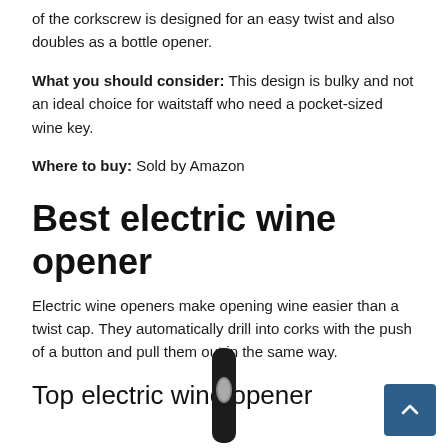of the corkscrew is designed for an easy twist and also doubles as a bottle opener.
What you should consider: This design is bulky and not an ideal choice for waitstaff who need a pocket-sized wine key.
Where to buy: Sold by Amazon
Best electric wine opener
Electric wine openers make opening wine easier than a twist cap. They automatically drill into corks with the push of a button and pull them out in the same way.
Top electric wine opener
[Figure (photo): Electric wine opener — a slender black device with an oval silver button on the front, shown from the top portion]